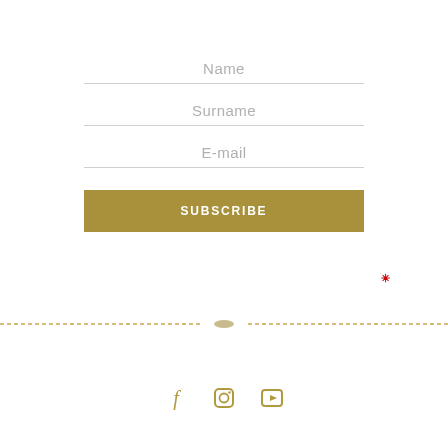Name
Surname
E-mail
SUBSCRIBE
[Figure (other): Decorative dashed horizontal gold line divider with a small decorative element in the center]
[Figure (other): Social media icons: Facebook (f), Instagram (camera), Vimeo (v) in gold color]